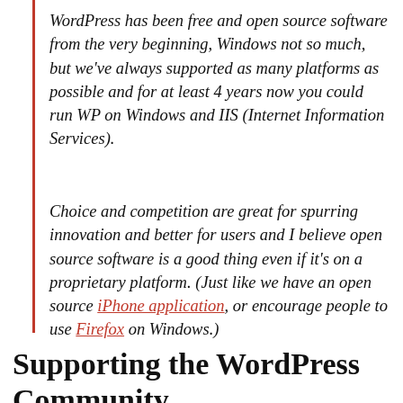WordPress has been free and open source software from the very beginning, Windows not so much, but we've always supported as many platforms as possible and for at least 4 years now you could run WP on Windows and IIS (Internet Information Services).
Choice and competition are great for spurring innovation and better for users and I believe open source software is a good thing even if it's on a proprietary platform. (Just like we have an open source iPhone application, or encourage people to use Firefox on Windows.)
Supporting the WordPress Community